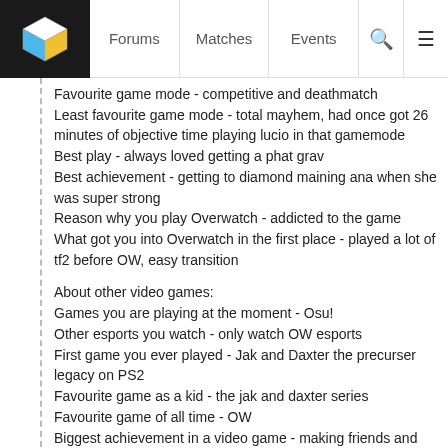Forums | Matches | Events
Favourite game mode - competitive and deathmatch
Least favourite game mode - total mayhem, had once got 26 minutes of objective time playing lucio in that gamemode
Best play - always loved getting a phat grav
Best achievement - getting to diamond maining ana when she was super strong
Reason why you play Overwatch - addicted to the game
What got you into Overwatch in the first place - played a lot of tf2 before OW, easy transition
About other video games:
Games you are playing at the moment - Osu!
Other esports you watch - only watch OW esports
First game you ever played - Jak and Daxter the precurser legacy on PS2
Favourite game as a kid - the jak and daxter series
Favourite game of all time - OW
Biggest achievement in a video game - making friends and meeting new communities
About you personally (no pressure to answer any of this if you don't want to):
Age - 22
Location - Sydney Australia